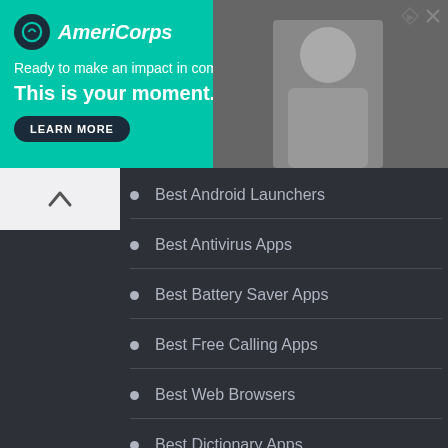[Figure (illustration): AmeriCorps advertisement banner with teal background. Logo with circle icon and 'AmeriCorps' text. Text: 'Ready to make an impact in communities across the country? This is your moment.' with LEARN MORE button. Right side shows a photo of a person.]
Best Android Launchers
Best Antivirus Apps
Best Battery Saver Apps
Best Free Calling Apps
Best Web Browsers
Best Dictionary Apps
Best Keyboard Apps
Site Tools
APK Downloader